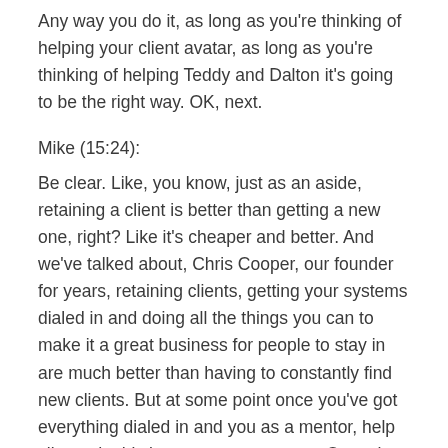Any way you do it, as long as you're thinking of helping your client avatar, as long as you're thinking of helping Teddy and Dalton it's going to be the right way. OK, next.
Mike (15:24):
Be clear. Like, you know, just as an aside, retaining a client is better than getting a new one, right? Like it's cheaper and better. And we've talked about, Chris Cooper, our founder for years, retaining clients, getting your systems dialed in and doing all the things you can to make it a great business for people to stay in are much better than having to constantly find new clients. But at some point once you've got everything dialed in and you as a mentor, help clients do this in a ramp up program. Once that happens, then it's time to find some